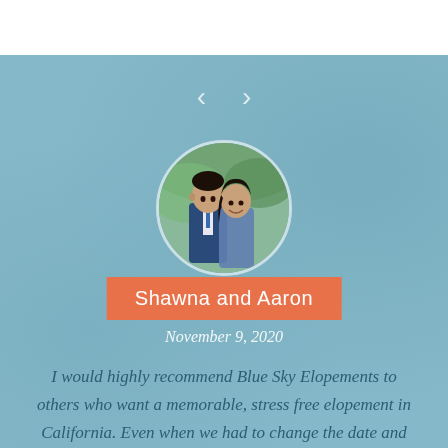[Figure (photo): Circular profile photo of a couple, Shawna and Aaron, on a light blue background. Navigation arrows (< >) are visible above the photo.]
Shawna and Aaron
November 9, 2020
I would highly recommend Blue Sky Elopements to others who want a memorable, stress free elopement in California. Even when we had to change the date and ceremony location due to the